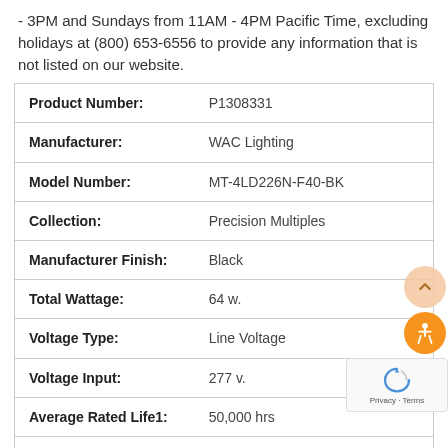- 3PM and Sundays from 11AM - 4PM Pacific Time, excluding holidays at (800) 653-6556 to provide any information that is not listed on our website.
|  |  |
| --- | --- |
| Product Number: | P1308331 |
| Manufacturer: | WAC Lighting |
| Model Number: | MT-4LD226N-F40-BK |
| Collection: | Precision Multiples |
| Manufacturer Finish: | Black |
| Total Wattage: | 64 w. |
| Voltage Type: | Line Voltage |
| Voltage Input: | 277 v. |
| Average Rated Life1: | 50,000 hrs |
| Aspect: | Flat |